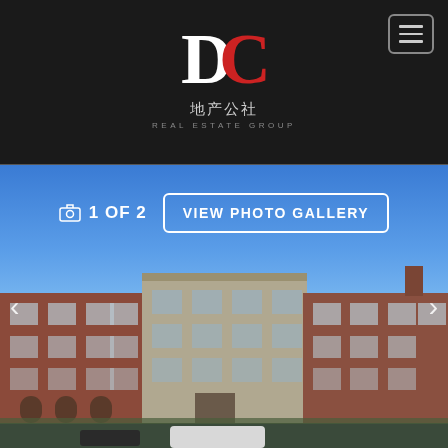[Figure (logo): DC Real Estate Group logo with large white D and red C letters, Chinese text 地产公社 and English text REAL ESTATE GROUP on dark background]
1 OF 2
VIEW PHOTO GALLERY
[Figure (photo): Exterior photo of a multi-story brick and stone residential or commercial building complex under a bright blue sky with scattered clouds. Cars are parked in front. Navigation arrows on left and right sides.]